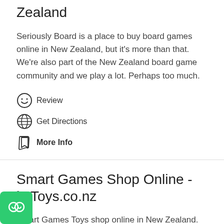Zealand
Seriously Board is a place to buy board games online in New Zealand, but it's more than that. We're also part of the New Zealand board game community and we play a lot. Perhaps too much.
Review
Get Directions
More Info
Smart Games Shop Online - iQToys.co.nz
Smart Games Toys shop online in New Zealand.
Review
Get Directions
More Info